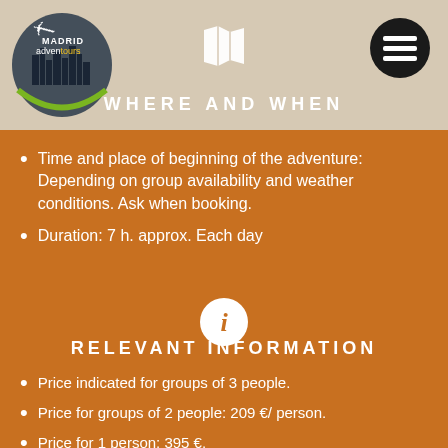[Figure (logo): Madrid Adventours logo with city skyline silhouette and green arc]
[Figure (illustration): White map/book icon in header]
[Figure (illustration): Black circle menu icon with three white horizontal lines]
WHERE AND WHEN
Time and place of beginning of the adventure: Depending on group availability and weather conditions. Ask when booking.
Duration: 7 h. approx. Each day
[Figure (illustration): White circle with orange letter i (information icon)]
RELEVANT INFORMATION
Price indicated for groups of 3 people.
Price for groups of 2 people: 209 €/ person.
Price for 1 person: 395 €.
Maximum group of 3 people.